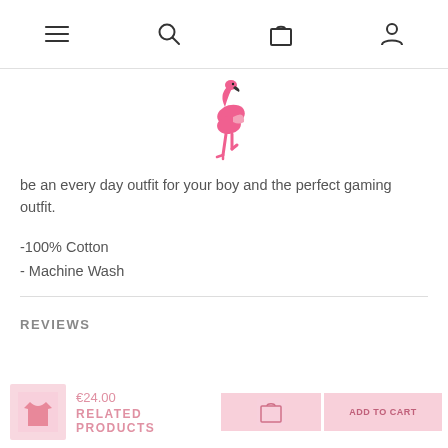Navigation bar with menu, search, cart, and account icons
[Figure (logo): Pink flamingo logo icon]
be an every day outfit for your boy and the perfect gaming outfit.
-100% Cotton
- Machine Wash
REVIEWS
€24.00
RELATED PRODUCTS